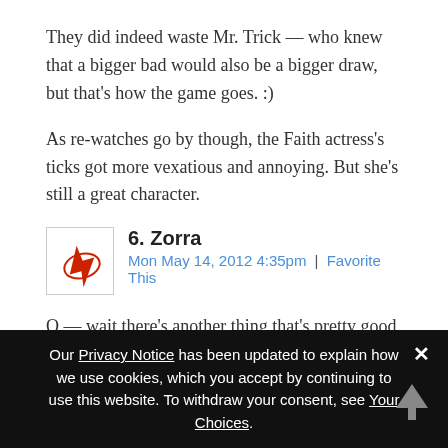They did indeed waste Mr. Trick — who knew that a bigger bad would also be a bigger draw, but that's how the game goes. :)
As re-watches go by though, the Faith actress's ticks got more vexatious and annoying. But she's still a great character.
6. Zorra
Mon May 14, 2012 4:35pm | Favorite This
O — wait there's another thing that's pretty good about this episode — non-bookish Buffy doing book research to help Angel. She also does hit the books
Our Privacy Notice has been updated to explain how we use cookies, which you accept by continuing to use this website. To withdraw your consent, see Your Choices.